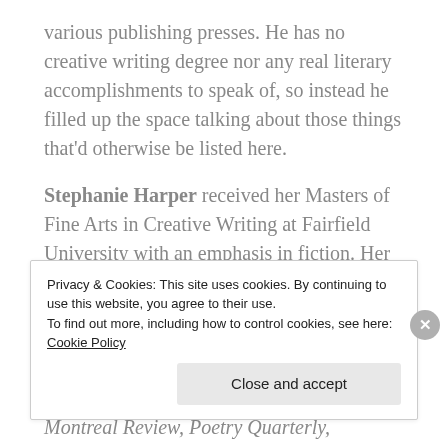various publishing presses. He has no creative writing degree nor any real literary accomplishments to speak of, so instead he filled up the space talking about those things that'd otherwise be listed here.

Stephanie Harper received her Masters of Fine Arts in Creative Writing at Fairfield University with an emphasis in fiction. Her debut poetry collection, Sermon Series, was published in September of 2017 with Finishing Line Press. Her work can be found in The Huffington Post, HelloGiggles, HerStories, Feminine Collective, The Montreal Review, Poetry Quarterly,
Privacy & Cookies: This site uses cookies. By continuing to use this website, you agree to their use.
To find out more, including how to control cookies, see here: Cookie Policy
Close and accept